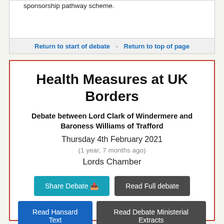sponsorship pathway scheme.
Return to start of debate - Return to top of page
Health Measures at UK Borders
Debate between Lord Clark of Windermere and Baroness Williams of Trafford
Thursday 4th February 2021
(1 year, 7 months ago)
Lords Chamber
Share Debate
Read Full debate
Read Hansard Text
Read Debate Ministerial Extracts